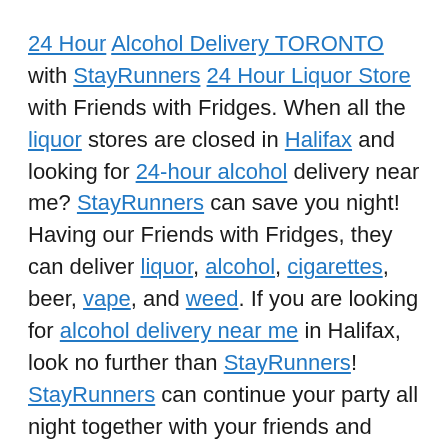24 Hour Alcohol Delivery TORONTO with StayRunners 24 Hour Liquor Store with Friends with Fridges. When all the liquor stores are closed in Halifax and looking for 24-hour alcohol delivery near me? StayRunners can save you night! Having our Friends with Fridges, they can deliver liquor, alcohol, cigarettes, beer, vape, and weed. If you are looking for alcohol delivery near me in Halifax, look no further than StayRunners! StayRunners can continue your party all night together with your friends and families to keep the good times going.
Can you get liquor delivered 24 hours in TORONTO?